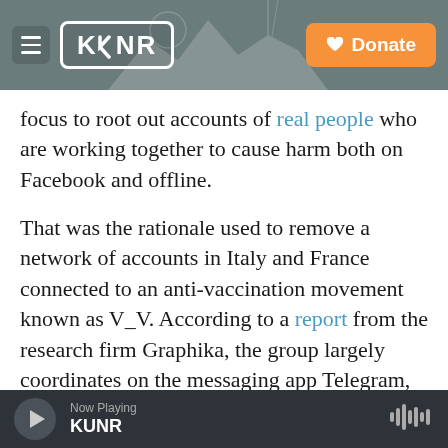KUNR | Donate
focus to root out accounts of real people who are working together to cause harm both on Facebook and offline.
That was the rationale used to remove a network of accounts in Italy and France connected to an anti-vaccination movement known as V_V. According to a report from the research firm Graphika, the group largely coordinates on the messaging app Telegram, but "appears to primarily target Facebook, where its members display the group's double V symbol in their profile pictures and swarm the comments sections of posts advocating
Now Playing KUNR